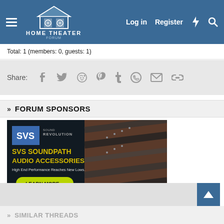HOME THEATER FORUM — Log in | Register
Total: 1 (members: 0, guests: 1)
Share: [social icons: Facebook, Twitter, Reddit, Pinterest, Tumblr, WhatsApp, Email, Link]
» FORUM SPONSORS
[Figure (illustration): SVS SoundPath Audio Accessories advertisement banner. Left side has dark background with SVS Sound Revolution logo, text 'SVS SOUNDPATH AUDIO ACCESSORIES', 'High End Performance Reaches New Lows.' and a green 'LEARN MORE >>' button. Right side shows a braided audio cable against a brick wall background.]
» SIMILAR THREADS